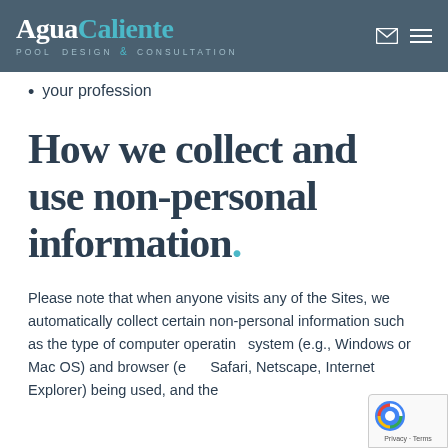Agua Caliente — POOL DESIGN & CONSULTATION
your profession
How we collect and use non-personal information.
Please note that when anyone visits any of the Sites, we automatically collect certain non-personal information such as the type of computer operating system (e.g., Windows or Mac OS) and browser (e.g., Safari, Netscape, Internet Explorer) being used, and the